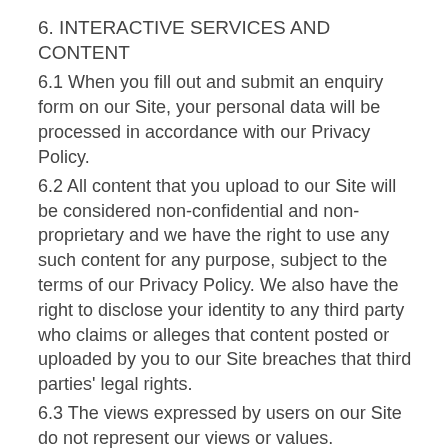6. INTERACTIVE SERVICES AND CONTENT
6.1 When you fill out and submit an enquiry form on our Site, your personal data will be processed in accordance with our Privacy Policy.
6.2 All content that you upload to our Site will be considered non-confidential and non-proprietary and we have the right to use any such content for any purpose, subject to the terms of our Privacy Policy. We also have the right to disclose your identity to any third party who claims or alleges that content posted or uploaded by you to our Site breaches that third parties' legal rights.
6.3 The views expressed by users on our Site do not represent our views or values.
6.4 All content that you upload to our Site must:
6.4.1 be accurate (where you state facts);
6.4.2 be genuinely held (where you state